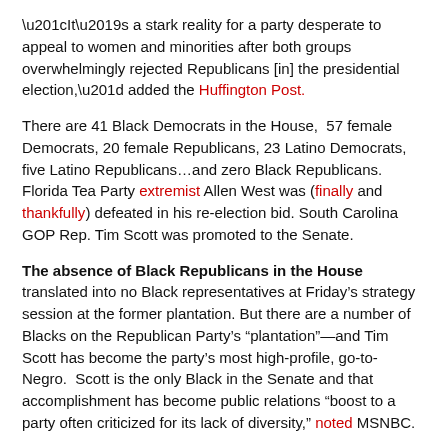“It’s a stark reality for a party desperate to appeal to women and minorities after both groups overwhelmingly rejected Republicans [in] the presidential election,” added the Huffington Post.
There are 41 Black Democrats in the House, 57 female Democrats, 20 female Republicans, 23 Latino Democrats, five Latino Republicans…and zero Black Republicans. Florida Tea Party extremist Allen West was (finally and thankfully) defeated in his re-election bid. South Carolina GOP Rep. Tim Scott was promoted to the Senate.
The absence of Black Republicans in the House translated into no Black representatives at Friday’s strategy session at the former plantation. But there are a number of Blacks on the Republican Party’s “plantation”—and Tim Scott has become the party’s most high-profile, go-to-Negro. Scott is the only Black in the Senate and that accomplishment has become public relations “boost to a party often criticized for its lack of diversity,” noted MSNBC.